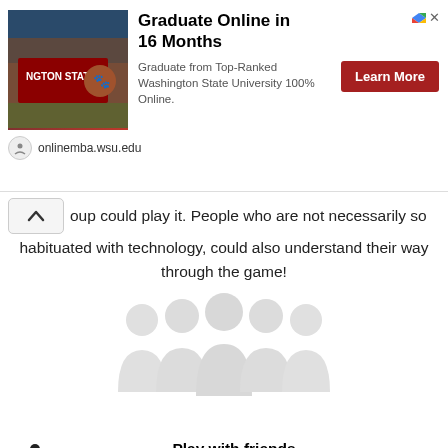[Figure (other): Advertisement banner for Washington State University Online MBA program. Shows WSU campus sign image on left, headline 'Graduate Online in 16 Months', subtext 'Graduate from Top-Ranked Washington State University 100% Online.', a red Learn More button, and onlinemba.wsu.edu URL at bottom.]
oup could play it. People who are not necessarily so habituated with technology, could also understand their way through the game!
[Figure (illustration): Faded light gray silhouette illustration of a group of people standing together (approximately 5-6 figures).]
Play with friends
Had it been an offline game, you would have required all your